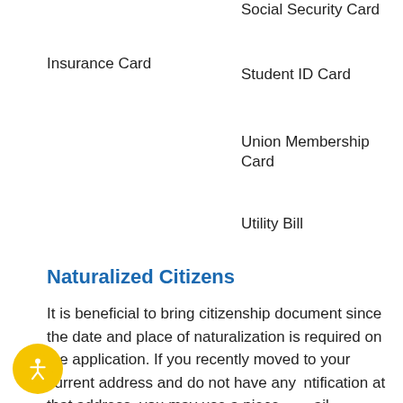Social Security Card
Insurance Card
Student ID Card
Union Membership Card
Utility Bill
Naturalized Citizens
It is beneficial to bring citizenship document since the date and place of naturalization is required on the application. If you recently moved to your current address and do not have any identification at that address, you may use a piece of mail postmarked within the last 30 days such as a utility bill.